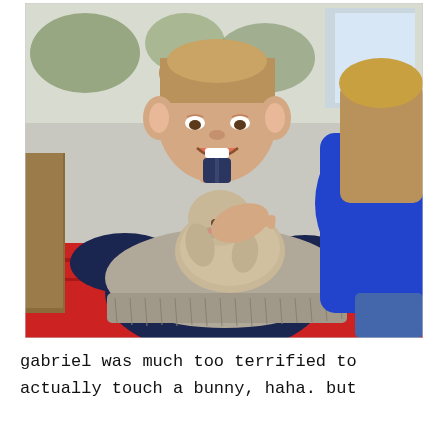[Figure (photo): A smiling young boy in a dark navy puffer jacket holding a small grey lop-eared bunny rabbit on a grey mat/blanket. He is sitting on a red bench seat. Next to him is a person in a blue jacket. Background shows a window with outdoor scenery.]
gabriel was much too terrified to actually touch a bunny, haha. but